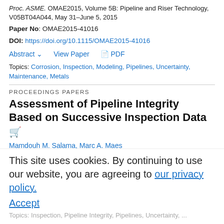Proc. ASME. OMAE2015, Volume 5B: Pipeline and Riser Technology, V05BT04A044, May 31–June 5, 2015
Paper No: OMAE2015-41016
DOI: https://doi.org/10.1115/OMAE2015-41016
Abstract ∨   View Paper   PDF
Topics: Corrosion, Inspection, Modeling, Pipelines, Uncertainty, Maintenance, Metals
PROCEEDINGS PAPERS
Assessment of Pipeline Integrity Based on Successive Inspection Data
Mamdouh M. Salama, Marc A. Maes
Proc. ASME. OMAE2014, Volume 5: Materials Technology; Petroleum Technology, V005T03A035, June 8–13, 2014
Paper No: OMAE2014-24519
This site uses cookies. By continuing to use our website, you are agreeing to our privacy policy. Accept
Topics: Inspection, Pipeline Integrity, Pipelines, Uncertainty, ...